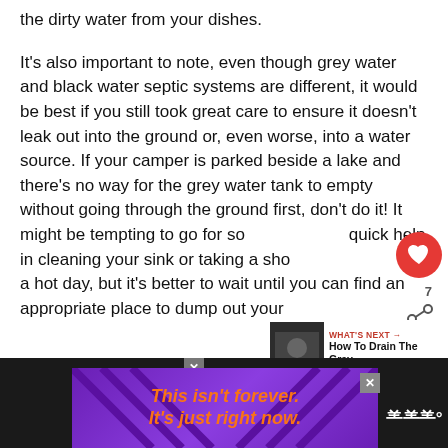the dirty water from your dishes.
It's also important to note, even though grey water and black water septic systems are different, it would be best if you still took great care to ensure it doesn't leak out into the ground or, even worse, into a water source. If your camper is parked beside a lake and there's no way for the grey water tank to empty without going through the ground first, don't do it! It might be tempting to go for some quick help in cleaning your sink or taking a shower on a hot day, but it's better to wait until you can find an appropriate place to dump out your
[Figure (screenshot): UI overlay with heart/like button (red circle), share icon with count 7, and a 'What's Next' card showing a thumbnail and text 'How To Drain The Gray...']
[Figure (infographic): Advertisement banner at the bottom with purple background and orange italic text reading 'This isn't forever. It's just right now.' with a close button and Tubi logo.]